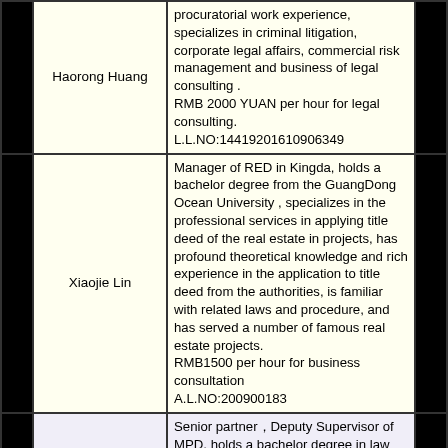| Name | Description |  |
| --- | --- | --- |
| Haorong Huang | procuratorial work experience, specializes in criminal litigation, corporate legal affairs, commercial risk management and business of legal consulting .
RMB 2000 YUAN per hour for legal consulting.
L.L.NO:14419201610906349 |  |
| Xiaojie Lin | Manager of RED in Kingda, holds a bachelor degree from the GuangDong Ocean University , specializes in the professional services in applying title deed of the real estate in projects, has profound theoretical knowledge and rich experience in the application to title deed from the authorities, is familiar with related laws and procedure, and has served a number of famous real estate projects.
RMB1500 per hour for business consultation
A.L.NO:200900183 |  |
|  | Senior partner，Deputy Supervisor of MPD, holds a bachelor degree in law from the Zhongnan University of Economics and Law, specializes in the professional services in the sale and financing of the real estate projects, has profound theoretical knowledge and rich experience in the sale and financing of real estate, is experienced in communicating with clients, and has served a number of famous real estate projects. |  |